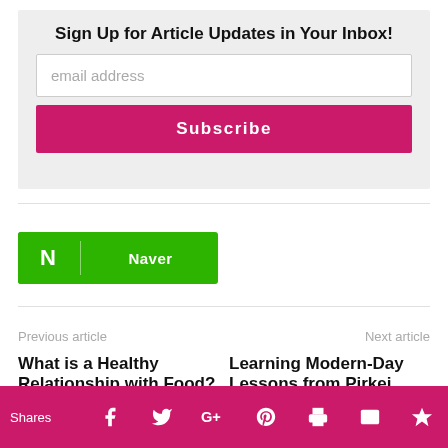Sign Up for Article Updates in Your Inbox!
email address
Subscribe
[Figure (logo): Naver green button with N icon and Naver text]
Previous article
Next article
What is a Healthy Relationship with Food?
Learning Modern-Day Lessons from Pirkei Avos
Shares